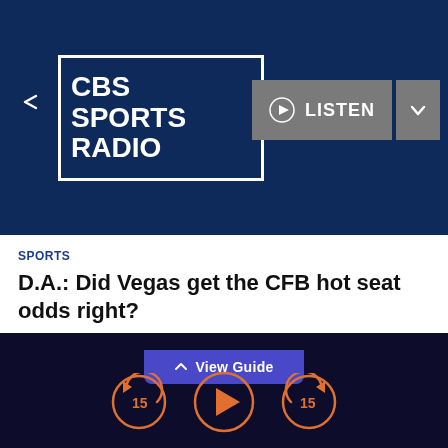[Figure (logo): CBS Sports Radio logo in white text with white border on navy background]
LISTEN
SPORTS
D.A.: Did Vegas get the CFB hot seat odds right?
Newsletter
EEO
Public Inspection File
Contest Rules
FCC Applications
Advertise with Us
^ View Guide